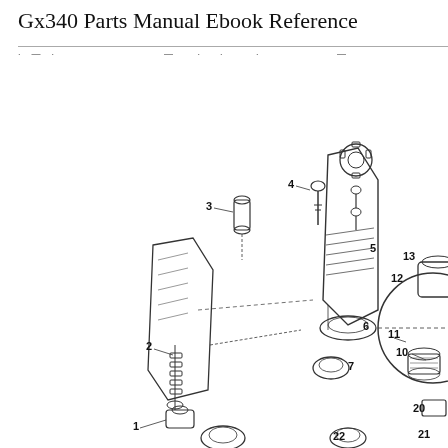Gx340 Parts Manual Ebook Reference
· — · · — · — · · ·  —
[Figure (engineering-diagram): Exploded parts diagram of Honda GX340 engine components showing numbered parts 1-13, 20, 21, 22. Parts include carburetor components, screws, springs, valves, throttle assembly, air filter housing, and engine block section. Numbers visible: 1, 2, 3, 4, 5, 6, 7, 10, 11, 12, 13, 20, 21, 22 with leader lines pointing to individual components.]